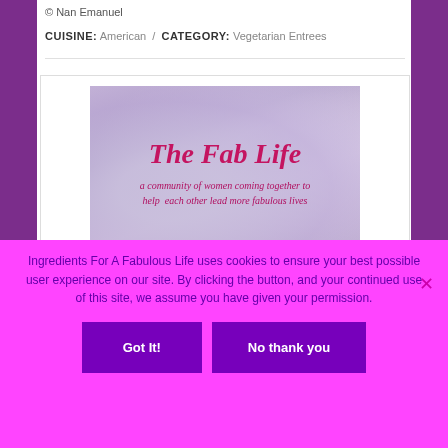© Nan Emanuel
CUISINE: American / CATEGORY: Vegetarian Entrees
[Figure (illustration): The Fab Life logo on a blurred purple/lavender background. Large italic text 'The Fab Life' in crimson/hot pink, subtitle 'a community of women coming together to help each other lead more fabulous lives' in smaller italic text below.]
Ingredients For A Fabulous Life uses cookies to ensure your best possible user experience on our site. By clicking the button, and your continued use of this site, we assume you have given your permission.